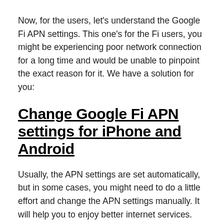Now, for the users, let's understand the Google Fi APN settings. This one's for the Fi users, you might be experiencing poor network connection for a long time and would be unable to pinpoint the exact reason for it. We have a solution for you:
Change Google Fi APN settings for iPhone and Android
Usually, the APN settings are set automatically, but in some cases, you might need to do a little effort and change the APN settings manually. It will help you to enjoy better internet services. Let's see how we can change the settings for both iPhone and